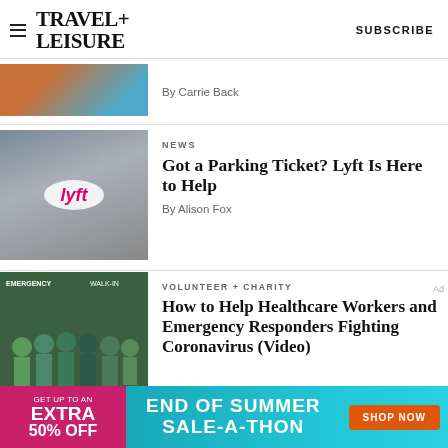TRAVEL+ LEISURE  SUBSCRIBE
By Carrie Back
NEWS
Got a Parking Ticket? Lyft Is Here to Help
By Alison Fox
VOLUNTEER + CHARITY
How to Help Healthcare Workers and Emergency Responders Fighting Coronavirus (Video)
[Figure (photo): Advertisement banner: END OF SUMMER SALE-A-THON with GET UP TO AN EXTRA 50% OFF on left and SHOP NOW button on right]